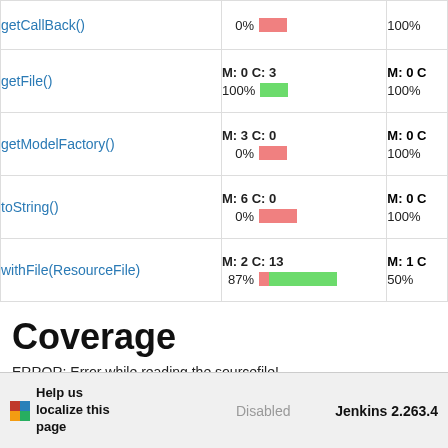| Method | Coverage |  |
| --- | --- | --- |
| getCallBack() | 0% [red bar] | 100% |
| getFile() | M: 0 C: 3 / 100% [green bar] | M: 0 C: / 100% |
| getModelFactory() | M: 3 C: 0 / 0% [red bar] | M: 0 C: / 100% |
| toString() | M: 6 C: 0 / 0% [red bar] | M: 0 C: / 100% |
| withFile(ResourceFile) | M: 2 C: 13 / 87% [mixed bar] | M: 1 C: / 50% |
Coverage
ERROR: Error while reading the sourcefile!
Help us localize this page   Disabled   Jenkins 2.263.4